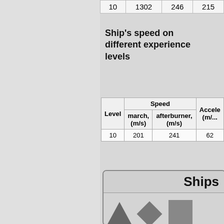|  | 1302 | 246 | 215 |
| --- | --- | --- | --- |
| 10 | 1302 | 246 | 215 |
Ship's speed on different experience levels
| Level | Speed march, (m/s) | Speed afterburner, (m/s) | Accele (m/... |
| --- | --- | --- | --- |
| 10 | 201 | 241 | 62 |
[Figure (illustration): Ships section header with ship icons (triangle, diamond, rectangle) partially visible]